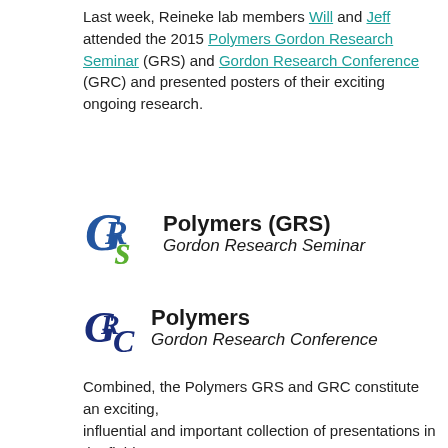Last week, Reineke lab members Will and Jeff attended the 2015 Polymers Gordon Research Seminar (GRS) and Gordon Research Conference (GRC) and presented posters of their exciting ongoing research.
[Figure (logo): Polymers (GRS) Gordon Research Seminar logo with stylized GRS letters in blue and green]
[Figure (logo): Polymers Gordon Research Conference logo with stylized GRC letters in dark blue]
Combined, the Polymers GRS and GRC constitute an exciting, influential and important collection of presentations in the field of polymer science.
From the official sites:
The GRS on Polymers is a unique forum for graduate students, post-docs, and other scientists with comparable levels of